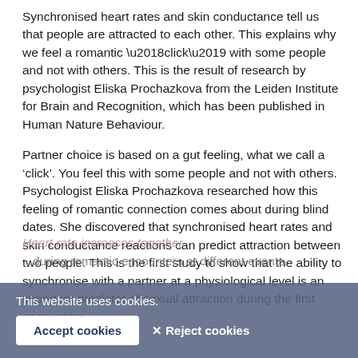Synchronised heart rates and skin conductance tell us that people are attracted to each other. This explains why we feel a romantic ‘click’ with some people and not with others. This is the result of research by psychologist Eliska Prochazkova from the Leiden Institute for Brain and Recognition, which has been published in Human Nature Behaviour.
Partner choice is based on a gut feeling, what we call a ‘click’. You feel this with some people and not with others. Psychologist Eliska Prochazkova researched how this feeling of romantic connection comes about during blind dates. She discovered that synchronised heart rates and skin conductance reactions can predict attraction between two people. This is the first study to show that the ability to synchronise with a partner at a physiological level is an important predictor of sexual attraction during the first encounters.
Heart rate increases together
...during romantic encounters at different events.
This website uses cookies.
Accept cookies
Reject cookies